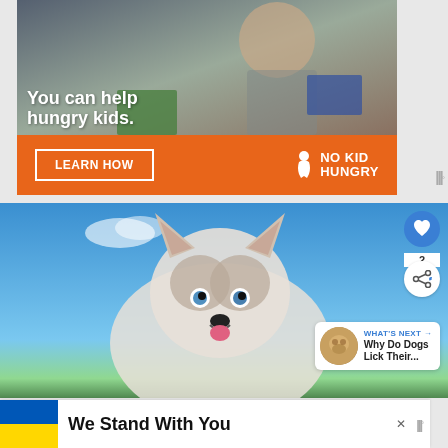[Figure (photo): Advertisement banner for No Kid Hungry showing a young boy eating food, with text 'You can help hungry kids.' and a 'LEARN HOW' button on an orange background with the No Kid Hungry logo]
[Figure (photo): Photo of a Siberian Husky puppy with blue eyes against a blue sky background, with UI elements including a heart/like button, share button, count badge showing '2', and a 'WHAT'S NEXT' panel showing 'Why Do Dogs Lick Their...']
[Figure (photo): Bottom advertisement banner showing Ukrainian flag colors (blue and yellow) with text 'We Stand With You', a close (X) button, and a Wndr badge]